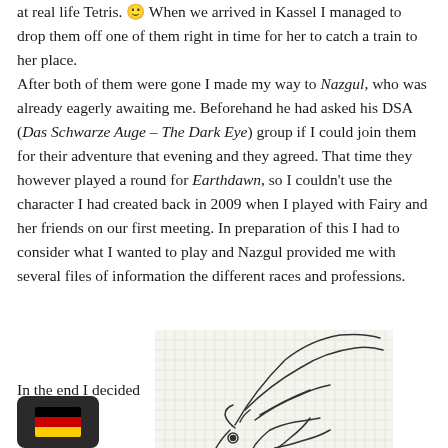at real life Tetris. 🙂 When we arrived in Kassel I managed to drop them off one of them right in time for her to catch a train to her place. After both of them were gone I made my way to Nazgul, who was already eagerly awaiting me. Beforehand he had asked his DSA (Das Schwarze Auge – The Dark Eye) group if I could join them for their adventure that evening and they agreed. That time they however played a round for Earthdawn, so I couldn't use the character I had created back in 2009 when I played with Fairy and her friends on our first meeting. In preparation of this I had to consider what I wanted to play and Nazgul provided me with several files of information the different races and professions.
In the end I decided to play a
[Figure (illustration): Pencil sketch of a creature or character drawn on graph paper, showing what appears to be a horned or antlered head/face in profile, with flowing curved lines suggesting movement or hair.]